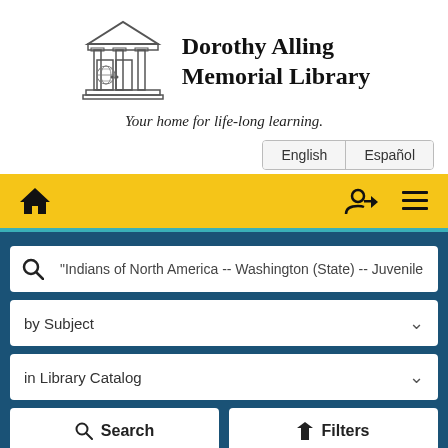[Figure (logo): Dorothy Alling Memorial Library logo: a building/library facade with columns, double doors, and a globe, rendered as a line drawing]
Dorothy Alling Memorial Library
Your home for life-long learning.
English | Español
[Figure (screenshot): Navigation bar with home icon, login icon, and hamburger menu icon on yellow background]
"Indians of North America -- Washington (State) -- Juvenile
by Subject
in Library Catalog
Search   Filters